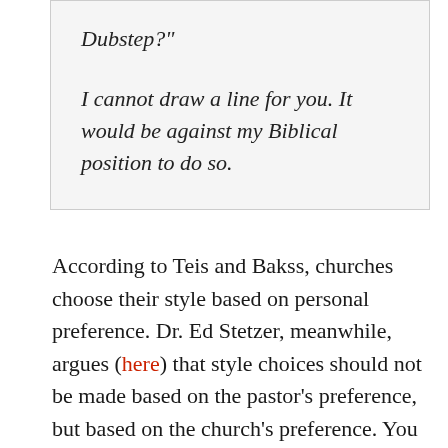Dubstep?" 

I cannot draw a line for you. It would be against my Biblical position to do so.
According to Teis and Bakss, churches choose their style based on personal preference. Dr. Ed Stetzer, meanwhile, argues (here) that style choices should not be made based on the pastor’s preference, but based on the church’s preference. You can watch the video here.
What I don’t see from these men is any real concern about what God wants. They believe that God has no